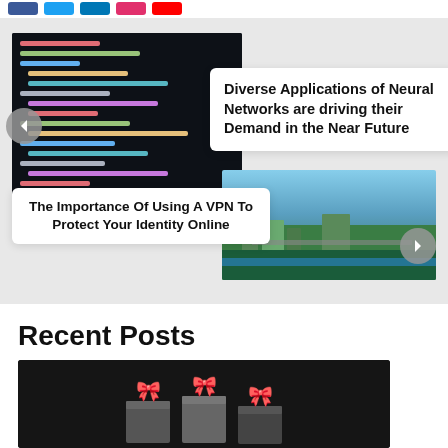[Figure (screenshot): Social media icon bar at top of page with colored icon buttons]
[Figure (photo): Dark code editor screenshot showing colorful code on black background (top-left of slider)]
Diverse Applications of Neural Networks are driving their Demand in the Near Future
[Figure (photo): Aerial city/coastal view photo (bottom-right of slider)]
The Importance Of Using A VPN To Protect Your Identity Online
Recent Posts
[Figure (photo): Dark background photo showing three gift boxes with colorful ribbon bows]